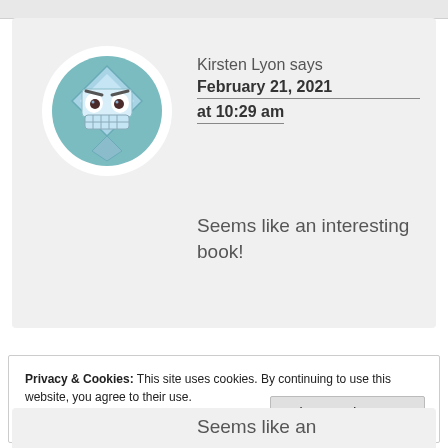[Figure (illustration): A round avatar icon showing an angry blue diamond-shaped robot face with gritted teeth on a teal circular background]
Kirsten Lyon says
February 21, 2021
at 10:29 am
Seems like an interesting book!
Privacy & Cookies: This site uses cookies. By continuing to use this website, you agree to their use.
To find out more, including how to control cookies, see here: Cookie Policy
Close and accept
Seems like an